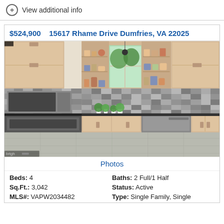View additional info
$524,900   15617 Rhame Drive Dumfries, VA 22025
[Figure (photo): Kitchen interior with light wood cabinets, stainless steel appliances including double oven and microwave, mosaic tile backsplash, dark countertops, and a window above the sink with plants.]
Photos
Beds: 4
Baths: 2 Full/1 Half
Sq.Ft.: 3,042
Status: Active
MLS#: VAPW2034482
Type: Single Family, Single